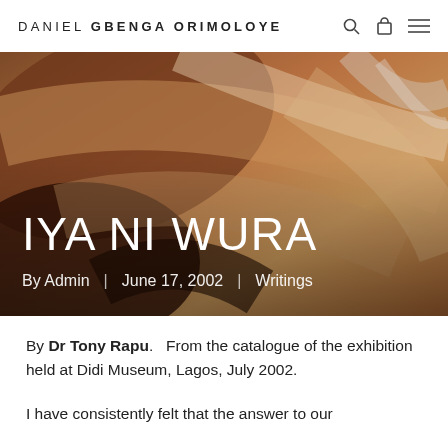DANIEL GBENGA ORIMOLOYE
[Figure (photo): Abstract oil painting with warm brown, tan, and cream tones — thick impasto brushstrokes of paint forming an abstract textured surface. The hero image spans the full width behind the article title.]
IYA NI WURA
By Admin | June 17, 2002 | Writings
By Dr Tony Rapu.   From the catalogue of the exhibition held at Didi Museum, Lagos, July 2002.
I have consistently felt that the answer to our